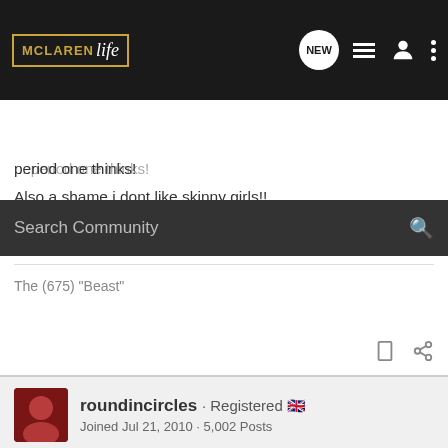[Figure (screenshot): McLaren Life forum website header with logo, search bar, and navigation icons]
...period one thinks!
Also a shame i dont like skinny girls!!
The (675) "Beast"
roundincircles · Registered 🇬🇧
Joined Jul 21, 2010 · 5,002 Posts
#15 · Sep 24, 2011
Understand. You like big girls with big handbags. We better